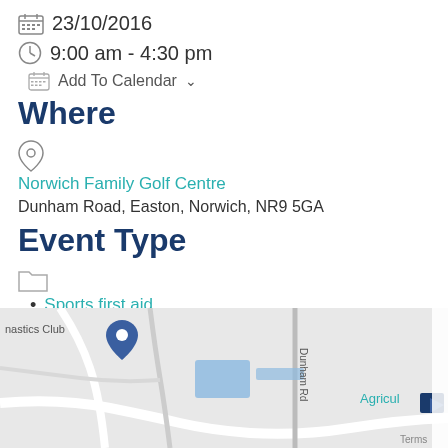23/10/2016
9:00 am - 4:30 pm
Add To Calendar
Where
Norwich Family Golf Centre
Dunham Road, Easton, Norwich, NR9 5GA
Event Type
Sports first aid
[Figure (map): Google map showing area around Norwich Family Golf Centre, Dunham Road, Easton. Shows road layout with Dunham Rd label, blue building footprints, and Agriculture label to the right. Map marker visible near top left labeled 'nastics Club'.]